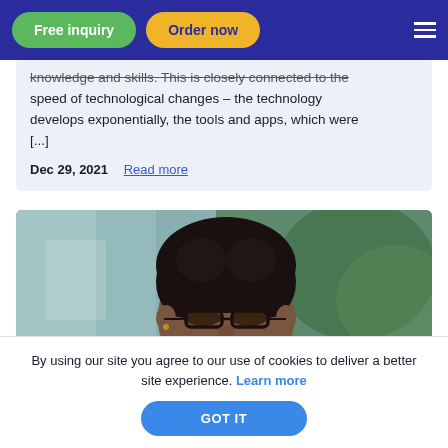Free inquiry | Order now
knowledge and skills. This is closely connected to the speed of technological changes – the technology develops exponentially, the tools and apps, which were [...]
Dec 29, 2021  Read more
[Figure (photo): A young Black woman with short curly hair and glasses, looking downward, wearing a light-colored top, with a blurred green background]
By using our site you agree to our use of cookies to deliver a better site experience. Learn more
GOT IT